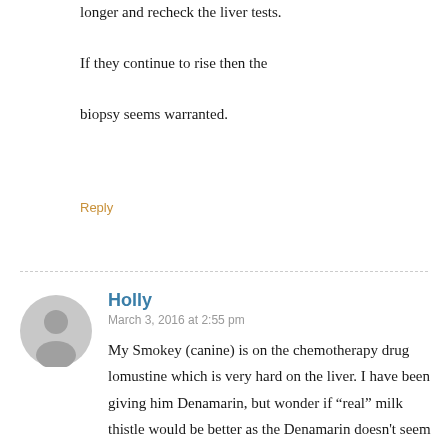longer and recheck the liver tests. If they continue to rise then the biopsy seems warranted.
Reply
Holly
March 3, 2016 at 2:55 pm
My Smokey (canine) is on the chemotherapy drug lomustine which is very hard on the liver. I have been giving him Denamarin, but wonder if “real” milk thistle would be better as the Denamarin doesn't seem to be keeping his liver values down. He weighs